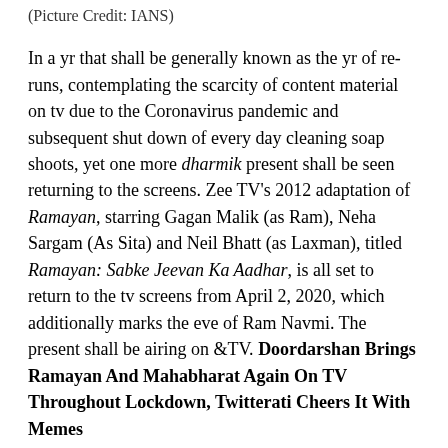(Picture Credit: IANS)
In a yr that shall be generally known as the yr of re-runs, contemplating the scarcity of content material on tv due to the Coronavirus pandemic and subsequent shut down of every day cleaning soap shoots, yet one more dharmik present shall be seen returning to the screens. Zee TV's 2012 adaptation of Ramayan, starring Gagan Malik (as Ram), Neha Sargam (As Sita) and Neil Bhatt (as Laxman), titled Ramayan: Sabke Jeevan Ka Aadhar, is all set to return to the tv screens from April 2, 2020, which additionally marks the eve of Ram Navmi. The present shall be airing on &TV. Doordarshan Brings Ramayan And Mahabharat Again On TV Throughout Lockdown, Twitterati Cheers It With Memes
That is the second Ramayan model and fifth mythological/historic present to make it to the tv screens after Ramanand Sagar's Ramayan, BR Chopra's